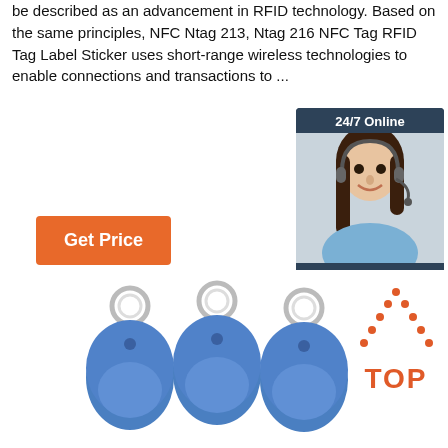be described as an advancement in RFID technology. Based on the same principles, NFC Ntag 213, Ntag 216 NFC Tag RFID Tag Label Sticker uses short-range wireless technologies to enable connections and transactions to ...
[Figure (other): Orange 'Get Price' button]
[Figure (other): 24/7 Online chat widget with customer service representative photo, 'Click here for free chat!' text, and orange QUOTATION button]
[Figure (photo): Three blue RFID key fob tags with metal rings on white background, with a red/orange 'TOP' badge in the bottom right corner]